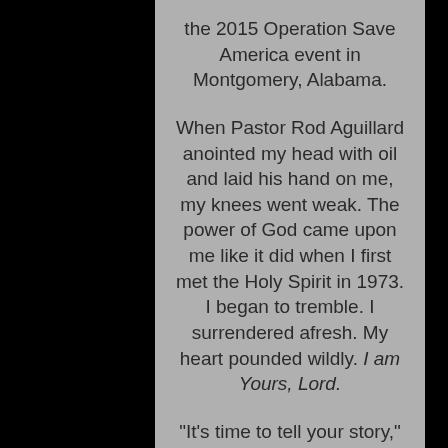the 2015 Operation Save America event in Montgomery, Alabama.
When Pastor Rod Aguillard anointed my head with oil and laid his hand on me, my knees went weak. The power of God came upon me like it did when I first met the Holy Spirit in 1973. I began to tremble. I surrendered afresh. My heart pounded wildly. I am Yours, Lord.
"It's time to tell your story," Pastor Rod said.
I have always told my story. But this time, the Lord was asking for it to be written.